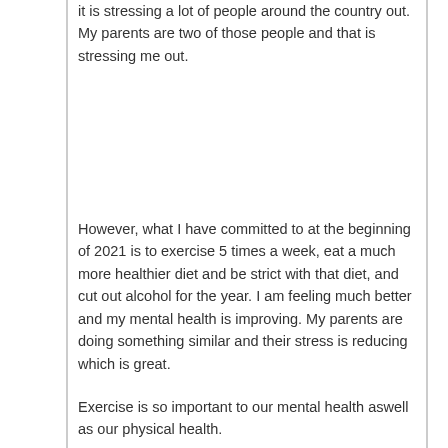it is stressing a lot of people around the country out. My parents are two of those people and that is stressing me out.
However, what I have committed to at the beginning of 2021 is to exercise 5 times a week, eat a much more healthier diet and be strict with that diet, and cut out alcohol for the year. I am feeling much better and my mental health is improving. My parents are doing something similar and their stress is reducing which is great.
Exercise is so important to our mental health aswell as our physical health.